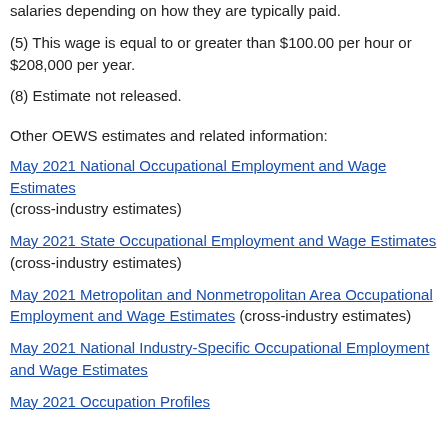salaries depending on how they are typically paid.
(5) This wage is equal to or greater than $100.00 per hour or $208,000 per year.
(8) Estimate not released.
Other OEWS estimates and related information:
May 2021 National Occupational Employment and Wage Estimates (cross-industry estimates)
May 2021 State Occupational Employment and Wage Estimates (cross-industry estimates)
May 2021 Metropolitan and Nonmetropolitan Area Occupational Employment and Wage Estimates (cross-industry estimates)
May 2021 National Industry-Specific Occupational Employment and Wage Estimates
May 2021 Occupation Profiles